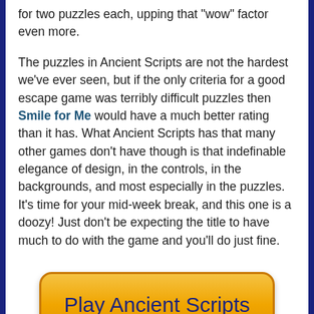for two puzzles each, upping that "wow" factor even more.
The puzzles in Ancient Scripts are not the hardest we've ever seen, but if the only criteria for a good escape game was terribly difficult puzzles then Smile for Me would have a much better rating than it has. What Ancient Scripts has that many other games don't have though is that indefinable elegance of design, in the controls, in the backgrounds, and most especially in the puzzles. It's time for your mid-week break, and this one is a doozy! Just don't be expecting the title to have much to do with the game and you'll do just fine.
[Figure (other): Orange rounded button with text 'Play Ancient Scripts' in dark blue on orange/yellow gradient background]